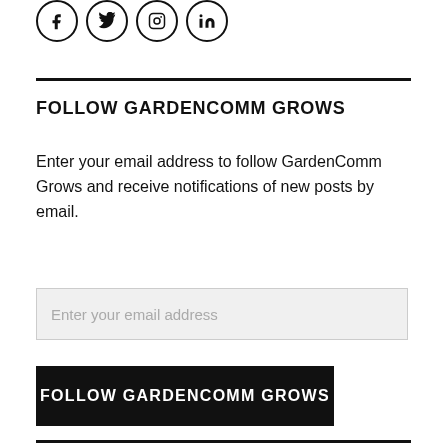[Figure (illustration): Four social media icon circles: Facebook (f), Twitter (bird), Instagram (camera), LinkedIn (in)]
FOLLOW GARDENCOMM GROWS
Enter your email address to follow GardenComm Grows and receive notifications of new posts by email.
Enter your email address
FOLLOW GARDENCOMM GROWS